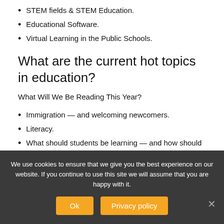STEM fields & STEM Education.
Educational Software.
Virtual Learning in the Public Schools.
What are the current hot topics in education?
What Will We Be Reading This Year?
Immigration — and welcoming newcomers.
Literacy.
What should students be learning — and how should we be measuring it?
Digital literacy.
Trauma and supporting vulnerable students.
We use cookies to ensure that we give you the best experience on our website. If you continue to use this site we will assume that you are happy with it.